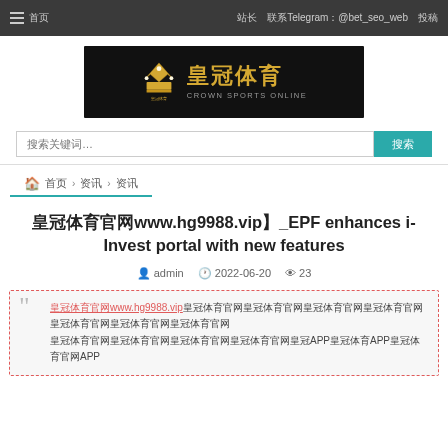≡ 首页 | 站长 联系Telegram：@bet_seo_web | 投稿
[Figure (logo): 皇冠体育 Crown Sports Online logo on black background with gold crown icon]
搜索关键词… 搜索
🏠 首页 > 资讯 > 资讯
皇冠体育官网www.hg9988.vip】_EPF enhances i-Invest portal with new features
admin  2022-06-20  23
皇冠体育官网www.hg9988.vip皇冠体育官网皇冠体育官网皇冠体育官网皇冠体育官网皇冠体育官网皇冠APP皇冠体育APPios皇冠APP